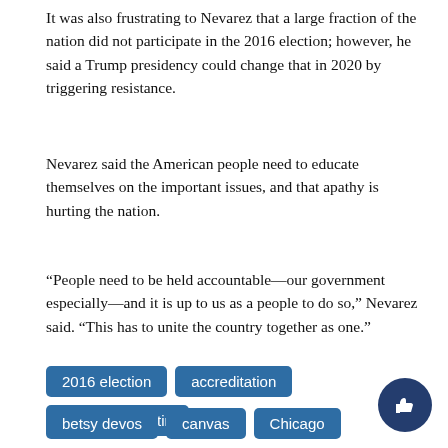It was also frustrating to Nevarez that a large fraction of the nation did not participate in the 2016 election; however, he said a Trump presidency could change that in 2020 by triggering resistance.
Nevarez said the American people need to educate themselves on the important issues, and that apathy is hurting the nation.
“People need to be held accountable—our government especially—and it is up to us as a people to do so,” Nevarez said. “This has to unite the country together as one.”
2016 election
accreditation
Ariana Portalatin
betsy devos
canvas
Chicago
Columbia College Chicago
donald trump
eric brodack
nathan hall
Faculty Senate